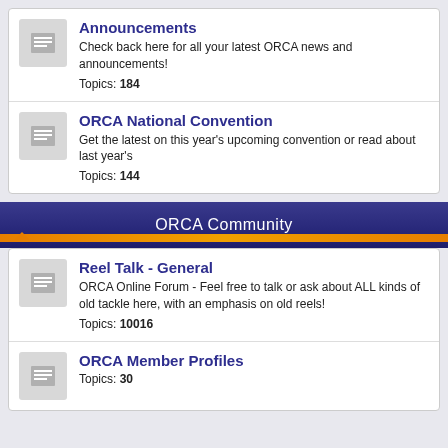Announcements
Check back here for all your latest ORCA news and announcements!
Topics: 184
ORCA National Convention
Get the latest on this year's upcoming convention or read about last year's
Topics: 144
ORCA Community
Reel Talk - General
ORCA Online Forum - Feel free to talk or ask about ALL kinds of old tackle here, with an emphasis on old reels!
Topics: 10016
ORCA Member Profiles
Topics: 30